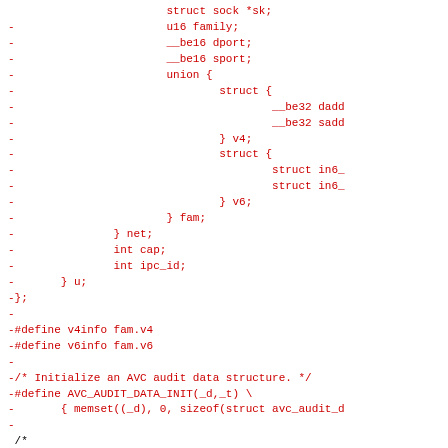[Figure (screenshot): A code diff snippet showing removed lines (in red) from a C source file, including struct fields for network audit data, macro definitions for v4info and v6info, AVC_AUDIT_DATA_INIT macro, and the start of a comment block about AVC statistics. The bottom shows a diff hunk header in black.]